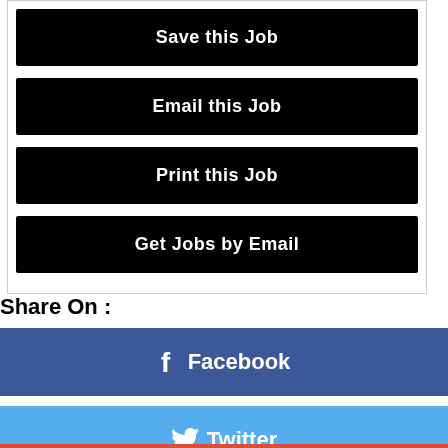Save this Job
Email this Job
Print this Job
Get Jobs by Email
Share On :
f  Facebook
Twitter